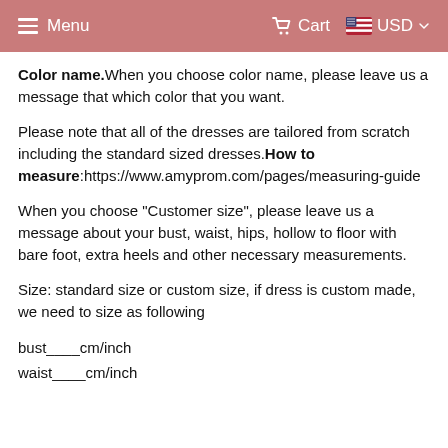Menu   Cart   USD
Color name. When you choose color name, please leave us a message that which color that you want.
Please note that all of the dresses are tailored from scratch including the standard sized dresses. How to measure:https://www.amyprom.com/pages/measuring-guide
When you choose "Customer size", please leave us a message about your bust, waist, hips, hollow to floor with bare foot, extra heels and other necessary measurements.
Size: standard size or custom size, if dress is custom made, we need to size as following
bust____cm/inch
waist____cm/inch